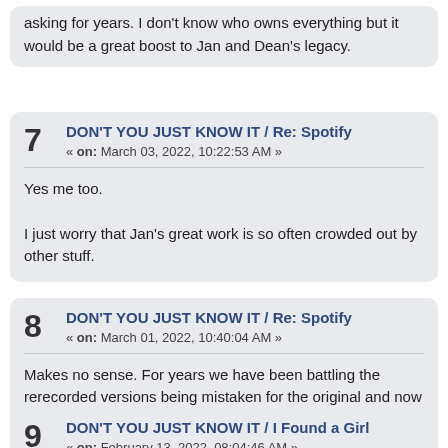asking for years. I don't know who owns everything but it would be a great boost to Jan and Dean's legacy.
7  DON'T YOU JUST KNOW IT / Re: Spotify « on: March 03, 2022, 10:22:53 AM »
Yes me too.

I just worry that Jan's great work is so often crowded out by other stuff.
8  DON'T YOU JUST KNOW IT / Re: Spotify « on: March 01, 2022, 10:40:04 AM »
Makes no sense. For years we have been battling the rerecorded versions being mistaken for the original and now this!
9  DON'T YOU JUST KNOW IT / I Found a Girl « on: February 13, 2022, 08:04:46 AM »